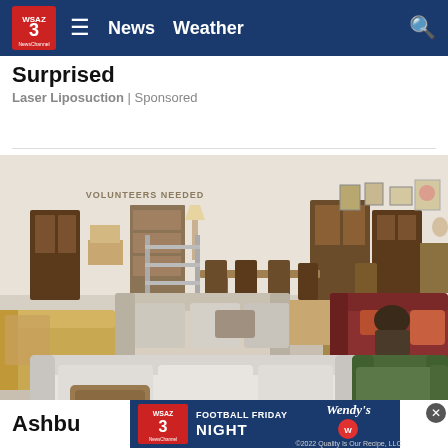WSAZ 3 NewsChannel  ≡  News  Weather  🔍
Surprised
Laser Liposuction | Sponsored
[Figure (photo): Interior of a furniture thrift/charity shop with multiple sofas, armchairs, tables, and shelving units on display. A 'VOLUNTEERS NEEDED' sign is visible on the back wall.]
Ashbu  for  almos
[Figure (infographic): WSAZ 3 NewsChannel Football Friday Night Wendy's advertisement banner overlay at the bottom of the page. Includes WSAZ logo, 'FOOTBALL FRIDAY NIGHT' text, Wendy's logo and '©2022 Quality Is Our Recipe, LLC'.]